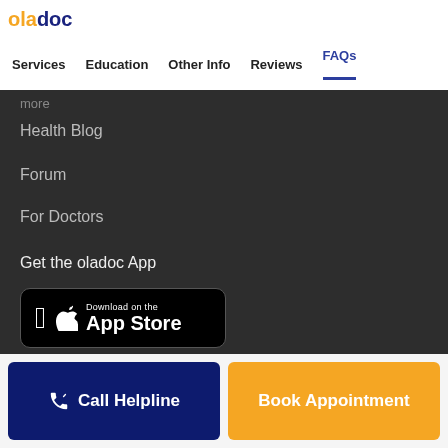oladoc
Services  Education  Other Info  Reviews  FAQs
more
Health Blog
Forum
For Doctors
Get the oladoc App
[Figure (screenshot): Download on the App Store button (black rounded rectangle)]
[Figure (screenshot): Get it on Google Play button (black rounded rectangle with Play Store logo)]
Call Helpline
Book Appointment